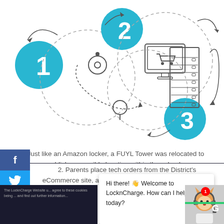[Figure (infographic): Three-step process diagram with numbered circles (1, 2, 3 in teal/blue) connected by dashed circular arrows. Step 1 shows a location pin icon, Step 2 shows a shopping cart on a monitor, Step 3 shows a locker/tower unit.]
1. Just like an Amazon locker, a FUYL Tower was relocated to a publicly-accessible location within the school.
2. Parents place tech orders from the District's eCommerce site, and the school fulfills the order by pla...
[Figure (screenshot): Partial screenshot of LocknCharge website with cookie notice overlay, chat popup saying 'Hi there! Welcome to LocknCharge. How can I help you today?', and a chat agent avatar with notification badge showing 1.]